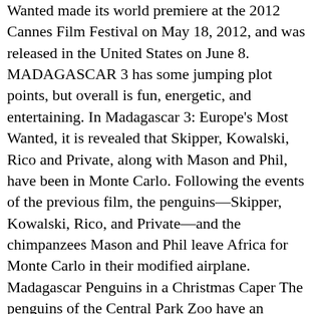Wanted made its world premiere at the 2012 Cannes Film Festival on May 18, 2012, and was released in the United States on June 8. MADAGASCAR 3 has some jumping plot points, but overall is fun, energetic, and entertaining. In Madagascar 3: Europe's Most Wanted, it is revealed that Skipper, Kowalski, Rico and Private, along with Mason and Phil, have been in Monte Carlo. Following the events of the previous film, the penguins—Skipper, Kowalski, Rico, and Private—and the chimpanzees Mason and Phil leave Africa for Monte Carlo in their modified airplane. Madagascar Penguins in a Christmas Caper The penguins of the Central Park Zoo have an adventure in the city on Christmas Eve. They rescue the zoo animals, and together they defeat DuBois. It is also the first film in the series to be released in 3D. Film ini diproduseri oleh DreamWorks Animation dan didistribusikan oleh Paramount Pictures. Voices of Ben Stiller, Chris Rock, David Schwimmer and Jada Pinkett Smith are featured in the films. Ben Stiller, Chris Rock, David Schwimmer, Jada Pinkett Smith, Sacha Baron Cohen, Cedric the Entertainer, and Andy Richter reprise their roles from the previous films, with